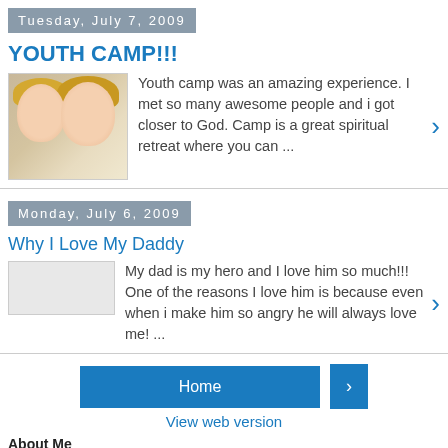Tuesday, July 7, 2009
YOUTH CAMP!!!
Youth camp was an amazing experience. I met so many awesome people and i got closer to God. Camp is a great spiritual retreat where you can ...
Monday, July 6, 2009
Why I Love My Daddy
My dad is my hero and I love him so much!!! One of the reasons I love him is because even when i make him so angry he will always love me! ...
Home
View web version
About Me
Jo-Jo